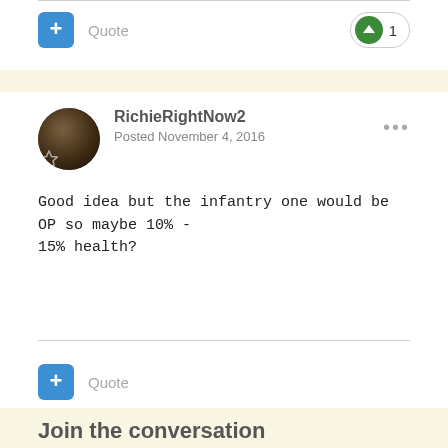[Figure (other): Quote button (blue + button) and upvote pill with count 1]
Quote
1
RichieRightNow2
Posted November 4, 2016
Good idea but the infantry one would be OP so maybe 10% - 15% health?
Quote
Join the conversation